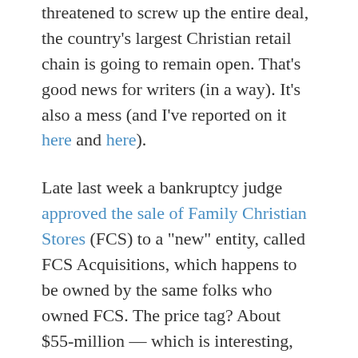threatened to screw up the entire deal, the country's largest Christian retail chain is going to remain open. That's good news for writers (in a way). It's also a mess (and I've reported on it here and here).
Late last week a bankruptcy judge approved the sale of Family Christian Stores (FCS) to a "new" entity, called FCS Acquisitions, which happens to be owned by the same folks who owned FCS. The price tag? About $55-million — which is interesting, since FCS owed about $127-million. So by going through a Chapter 11, they shed millions of dollars in leases, rent contracts, loans — oh, and debts to publishers. According to two sources, Credit Suisse (the largest of the creditors owed money, and the bank that